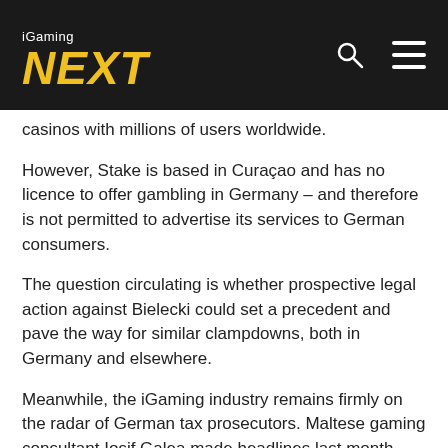iGaming NEXT
casinos with millions of users worldwide.
However, Stake is based in Curaçao and has no licence to offer gambling in Germany – and therefore is not permitted to advertise its services to German consumers.
The question circulating is whether prospective legal action against Bielecki could set a precedent and pave the way for similar clampdowns, both in Germany and elsewhere.
Meanwhile, the iGaming industry remains firmly on the radar of German tax prosecutors. Maltese gaming consultant Iosif Galea made headlines last month when he was arrested in Italy on the back of a